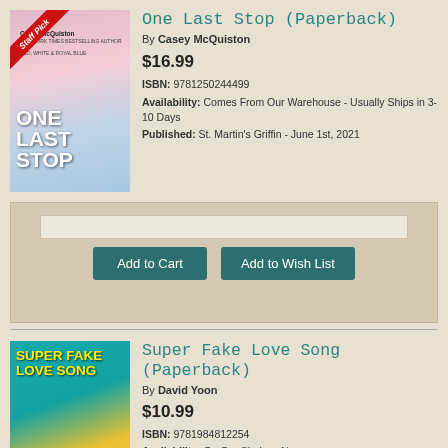[Figure (illustration): Book cover of 'One Last Stop' by Casey McQuiston with a Staff Pick banner in the top-left corner]
One Last Stop (Paperback)
By Casey McQuiston
$16.99
ISBN: 9781250244499
Availability: Comes From Our Warehouse - Usually Ships in 3-10 Days
Published: St. Martin's Griffin - June 1st, 2021
Add to Cart
Add to Wish List
[Figure (illustration): Book cover of 'Super Fake Love Song' by David Yoon]
Super Fake Love Song (Paperback)
By David Yoon
$10.99
ISBN: 9781984812254
Availability: On Our Shelves Now
Published: G.P. Putnam's Sons Books